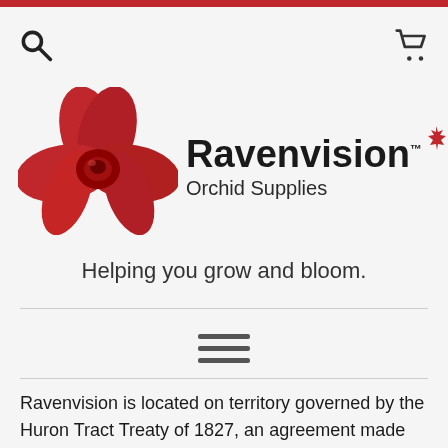[Figure (logo): Ravenvision Orchid Supplies logo with red orchid flower, maple leaf, and bold text reading 'Ravenvision' and 'Orchid Supplies']
Helping you grow and bloom.
[Figure (other): Hamburger menu icon (three horizontal lines)]
Ravenvision is located on territory governed by the Huron Tract Treaty of 1827, an agreement made between eighteen Anishnaabek chiefs and the Canada Company, an agency of the British crown. This land is